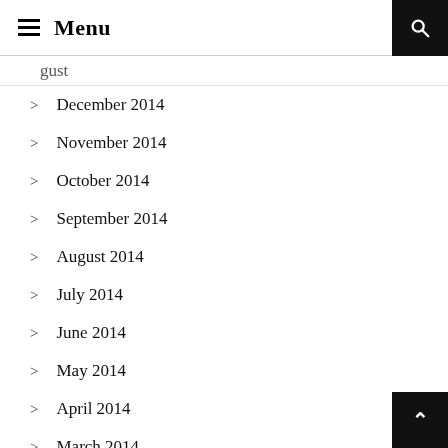☰ Menu
> December 2014
> November 2014
> October 2014
> September 2014
> August 2014
> July 2014
> June 2014
> May 2014
> April 2014
> March 2014